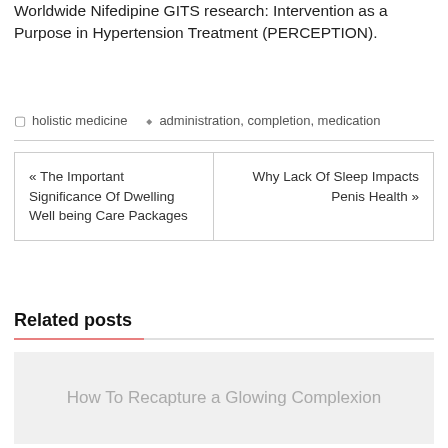Worldwide Nifedipine GITS research: Intervention as a Purpose in Hypertension Treatment (PERCEPTION).
holistic medicine   administration, completion, medication
« The Important Significance Of Dwelling Well being Care Packages
Why Lack Of Sleep Impacts Penis Health »
Related posts
How To Recapture a Glowing Complexion